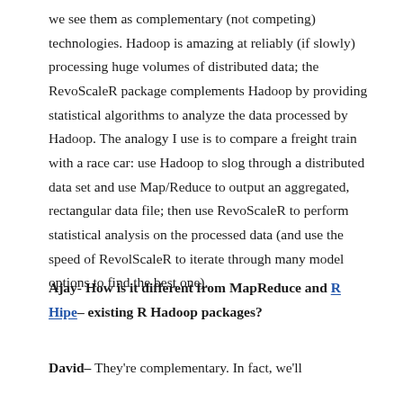we see them as complementary (not competing) technologies. Hadoop is amazing at reliably (if slowly) processing huge volumes of distributed data; the RevoScaleR package complements Hadoop by providing statistical algorithms to analyze the data processed by Hadoop. The analogy I use is to compare a freight train with a race car: use Hadoop to slog through a distributed data set and use Map/Reduce to output an aggregated, rectangular data file; then use RevoScaleR to perform statistical analysis on the processed data (and use the speed of RevolScaleR to iterate through many model options to find the best one).
Ajay- How is it different from MapReduce and R Hipe– existing R Hadoop packages?
David– They're complementary. In fact, we'll